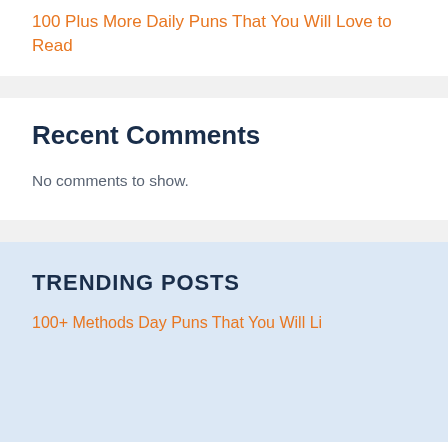100 Plus More Daily Puns That You Will Love to Read
Recent Comments
No comments to show.
TRENDING POSTS
100+ Methods Day Puns That You Will Li...